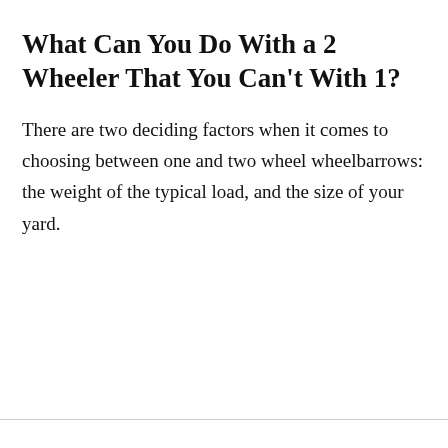What Can You Do With a 2 Wheeler That You Can't With 1?
There are two deciding factors when it comes to choosing between one and two wheel wheelbarrows: the weight of the typical load, and the size of your yard.